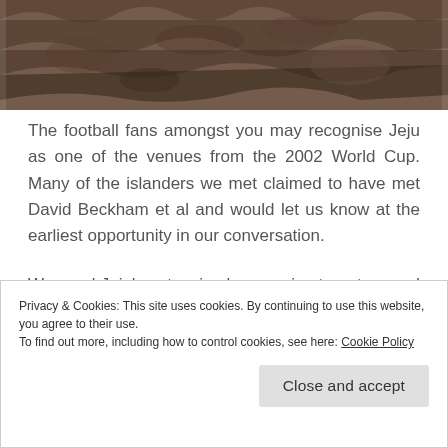[Figure (photo): Close-up photo of dark rocky volcanic surface, partially cropped at top of page]
The football fans amongst you may recognise Jeju as one of the venues from the 2002 World Cup. Many of the islanders we met claimed to have met David Beckham et al and would let us know at the earliest opportunity in our conversation.
We used Jeju's extensive bus service to get around and at a bus stop one day we met some Neuro surgeons who were on Jeju for a conference. They
Privacy & Cookies: This site uses cookies. By continuing to use this website, you agree to their use.
To find out more, including how to control cookies, see here: Cookie Policy
Close and accept
We spent a day climbing Mount Hallasan. The route